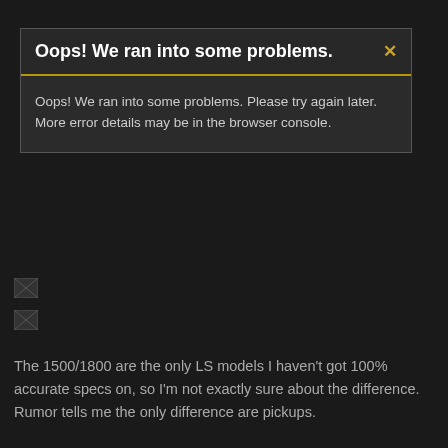Oops! We ran into some problems.
Oops! We ran into some problems. Please try again later. More error details may be in the browser console.
The 1500/1800 are the only LS models I haven't got 100% accurate specs on, so I'm not exactly sure about the difference. Rumor tells me the only difference are pickups.
freebird2
Senior Member
Oct 13, 2011
#10
Nice work Reborn. I give you a LOT of credit for putting together all that information. Are you planning to add the rare Greco Limited Edition model Les Pauls (1979-1980)?